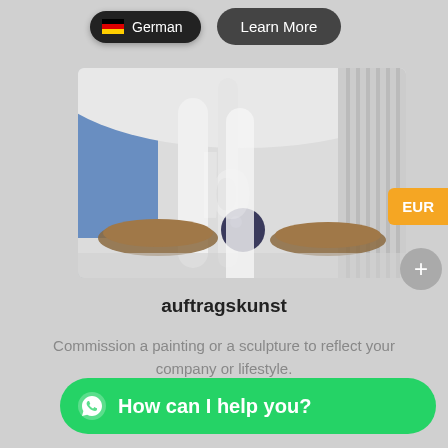German
Learn More
[Figure (photo): Modern white futuristic interior space with curved walls and ceiling, large windows with blue reflections, two sculptural organic wooden benches on a glossy white floor, and a dark spherical object in center. A translucent 'b' logo watermark overlaid.]
auftragskunst
Commission a painting or a sculpture to reflect your company or lifestyle.
EUR
How can I help you?